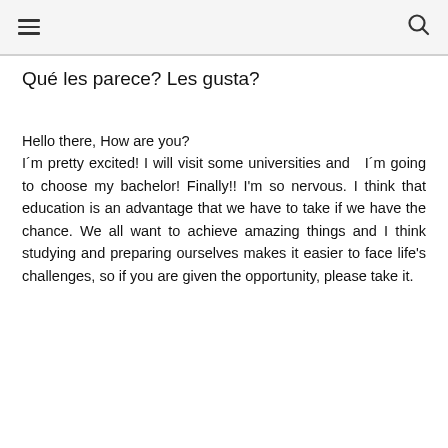≡  🔍
Qué les parece? Les gusta?
Hello there, How are you?
I´m pretty excited! I will visit some universities and I´m going to choose my bachelor! Finally!! I'm so nervous. I think that education is an advantage that we have to take if we have the chance. We all want to achieve amazing things and I think studying and preparing ourselves makes it easier to face life's challenges, so if you are given the opportunity, please take it.